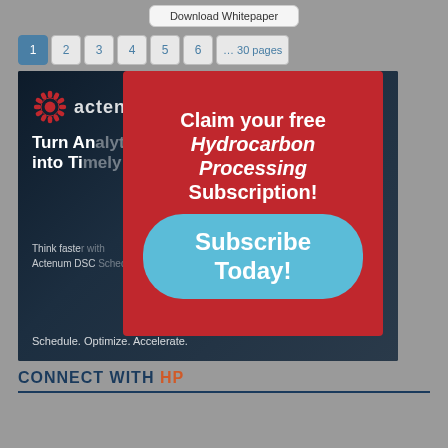[Figure (screenshot): Download Whitepaper button at top of page]
1 2 3 4 5 6 … 30 pages pagination
[Figure (infographic): Actenum ad banner with dark industrial background showing 'Turn Analytics into Timely Decisions' with tagline 'Schedule. Optimize. Accelerate.' overlaid with a red popup modal saying 'Claim your free Hydrocarbon Processing Subscription!' with a blue 'Subscribe Today!' button]
CONNECT WITH HP